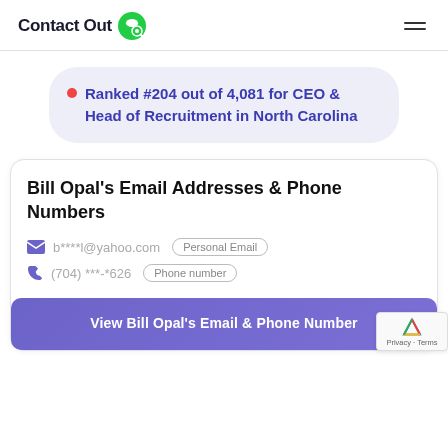ContactOut
Ranked #204 out of 4,081 for CEO & Head of Recruitment in North Carolina
Bill Opal's Email Addresses & Phone Numbers
b****l@yahoo.com  Personal Email
(704) ***-*626  Phone number
View Bill Opal's Email & Phone Number